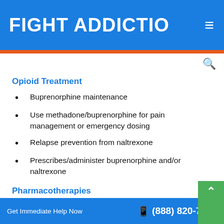FIGHT ADDICTIO ≡
Opioid Treatment
Buprenorphine maintenance
Use methadone/buprenorphine for pain management or emergency dosing
Relapse prevention from naltrexone
Prescribes/administer buprenorphine and/or naltrexone
Pharmacotherapies
Get Immediate Help Now   (888) 820-7985